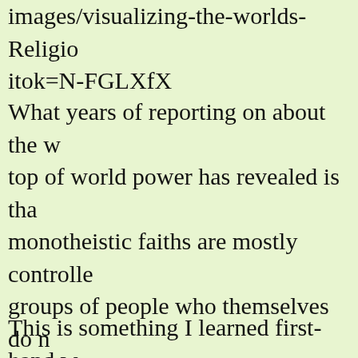images/visualizing-the-worlds-Religion itok=N-FGLXfX
What years of reporting on about the world top of world power has revealed is that monotheistic faiths are mostly controlled by groups of people who themselves do not believe in God. Instead, these families use monotheism as a tool for controlling their subject peoples. These are the people now facing a loss of power. That is also why those who think in monotheistic terms believe we are facing end-times.
This is something I learned first-hand when I went to Italy to negotiate with representatives of these families on behalf of Asian so...